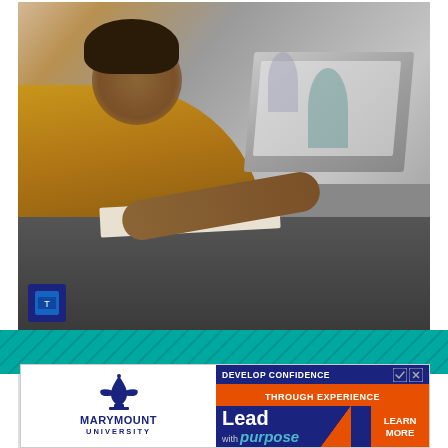[Figure (photo): Advertisement banner showing a smiling young man in a yellow shirt working on a laptop in a cafe setting. Text overlay reads 'Learn Something New at Trident' with a circular arrow button. Subtext: 'Trident University Intl.' Logo badge in bottom-left of photo.]
ezoic   report this ad
[Figure (photo): Marymount University advertisement banner. Left side: Marymount University fleur-de-lis logo in navy blue. Right side: Navy blue background with text 'DEVELOP CONFIDENCE THROUGH EXPERIENCE' and 'Lead with purpose' text, orange 'LEARN MORE' button. Small ad icon and X close button in top-right corner.]